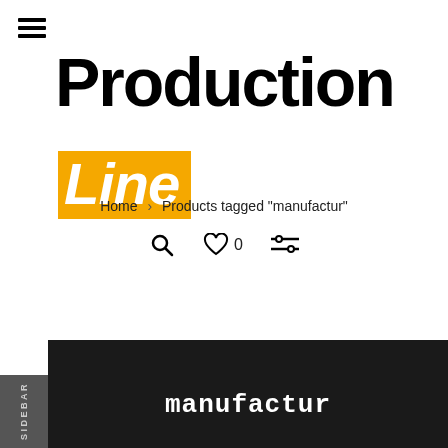[Figure (screenshot): Hamburger menu icon (three horizontal lines) in top left corner]
Production Line
Home > Products tagged "manufactur"
[Figure (screenshot): Navigation icons: search magnifying glass, heart/wishlist with 0 count, and filter/comparison icon]
SIDEBAR
manufactur
SORTING / DEFAULT
FILTER / –
RESET